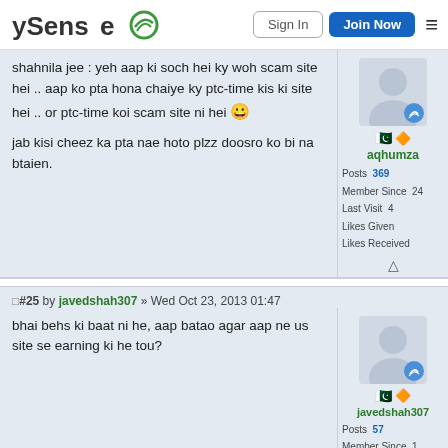ySense — Sign In | Join Now
shahnila jee : yeh aap ki soch hei ky woh scam site hei .. aap ko pta hona chaiye ky ptc-time kis ki site hei .. or ptc-time koi scam site ni hei 😀

jab kisi cheez ka pta nae hoto plzz doosro ko bi na btaien.
aqhumza
Posts 369
Member Since 24
Last Visit
Likes Given
Likes Received
#25 by javedshah307 » Wed Oct 23, 2013 01:47
bhai behs ki baat ni he, aap batao agar aap ne us site se earning ki he tou?
javedshah307
Posts 57
Member Since 1